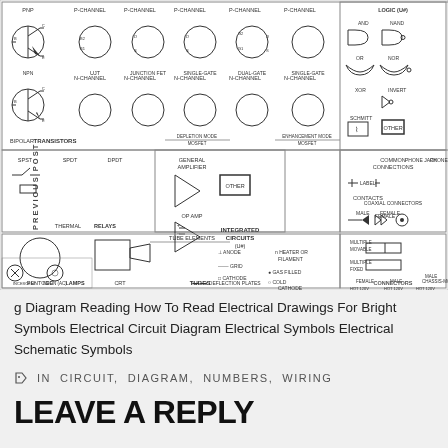[Figure (schematic): Electrical/electronic schematic symbols reference chart showing transistors (PNP, NPN, bipolar, UJT, junction FET, single-gate, dual-gate MOSFET depletion and enhancement mode), logic gates (AND, NAND, OR, NOR, XOR, INVERT, SCHMITT, OTHER), relays (SPST, SPDT, DPDT, thermal), general amplifier, op amp, integrated circuits, tube elements (anode, grid, cathode, heater/filament, gas filled, cold cathode, deflection plates), tubes (pentode, CRT), lamps (incandescent, neon AC), common connections, contacts (male, female), phone jack, phone plug, coaxial connectors, multiple movable/fixed connectors, connectors (female/male 120V, ground). Navigation labels: PREVIOUS POST on left side, NEXT POST on right side.]
g Diagram Reading How To Read Electrical Drawings For Bright Symbols Electrical Circuit Diagram Electrical Symbols Electrical Schematic Symbols
IN CIRCUIT, DIAGRAM, NUMBERS, WIRING
LEAVE A REPLY